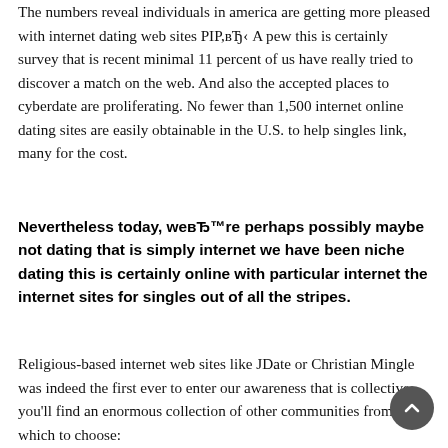The numbers reveal individuals in america are getting more pleased with internet dating web sites PIP,вЂ A pew this is certainly survey that is recent minimal 11 percent of us have really tried to discover a match on the web. And also the accepted places to cyberdate are proliferating. No fewer than 1,500 internet online dating sites are easily obtainable in the U.S. to help singles link, many for the cost.
Nevertheless today, weвЂ™re perhaps possibly maybe not dating that is simply internet we have been niche dating this is certainly online with particular internet the internet sites for singles out of all the stripes.
Religious-based internet web sites like JDate or Christian Mingle was indeed the first ever to enter our awareness that is collective you'll find an enormous collection of other communities from which to choose: